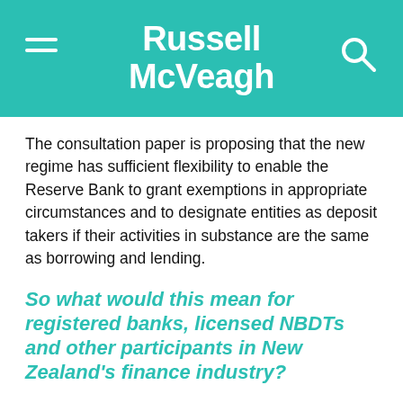Russell McVeagh
The consultation paper is proposing that the new regime has sufficient flexibility to enable the Reserve Bank to grant exemptions in appropriate circumstances and to designate entities as deposit takers if their activities in substance are the same as borrowing and lending.
So what would this mean for registered banks, licensed NBDTs and other participants in New Zealand's finance industry?
Possible outcomes under the Deposit Takers Act for different types of firms is set